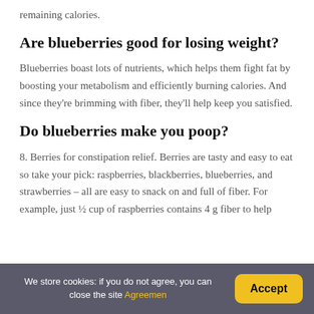remaining calories.
Are blueberries good for losing weight?
Blueberries boast lots of nutrients, which helps them fight fat by boosting your metabolism and efficiently burning calories. And since they're brimming with fiber, they'll help keep you satisfied.
Do blueberries make you poop?
8. Berries for constipation relief. Berries are tasty and easy to eat so take your pick: raspberries, blackberries, blueberries, and strawberries – all are easy to snack on and full of fiber. For example, just ½ cup of raspberries contains 4 g fiber to help
We store cookies: if you do not agree, you can close the site Agreemen